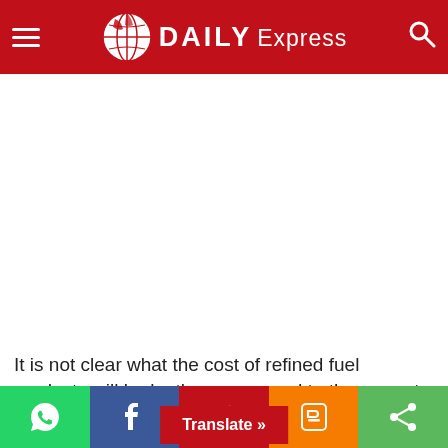Daily Express
[Figure (other): Advertisement / blank white space area]
It is not clear what the cost of refined fuel products will be by then compared to the current prices averaging sh5,100 a litre of petrol, and sh4,400 for diesel, and a sharp rise over two months by more than sh1,000.
Social share bar: WhatsApp, Facebook, Twitter, Blogger, Share. Translate button.